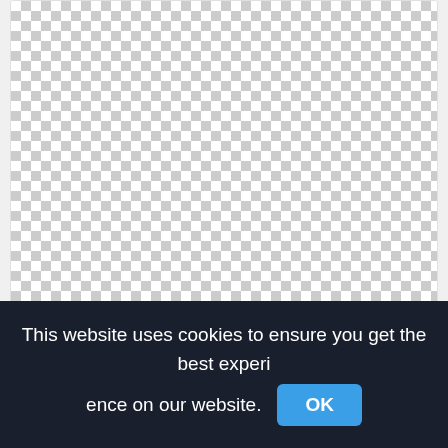[Figure (other): Checkerboard transparency pattern representing a PNG image placeholder for Rabiah Sutton Ceo And Bold Thinker, Businessperson png]
Rabiah Sutton Ceo And Bold Thinker, Businessperson png
425x425px
[Figure (other): Checkerboard transparency pattern for a second PNG image (partially visible)]
This website uses cookies to ensure you get the best experience on our website.